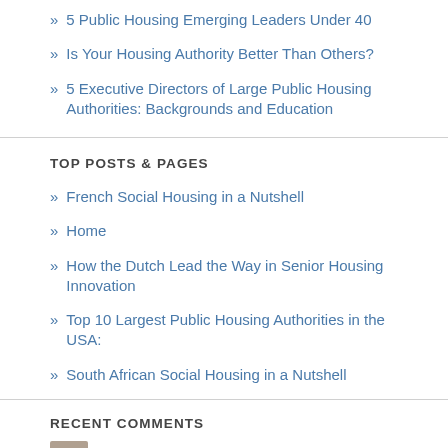» 5 Public Housing Emerging Leaders Under 40
» Is Your Housing Authority Better Than Others?
» 5 Executive Directors of Large Public Housing Authorities: Backgrounds and Education
TOP POSTS & PAGES
» French Social Housing in a Nutshell
» Home
» How the Dutch Lead the Way in Senior Housing Innovation
» Top 10 Largest Public Housing Authorities in the USA:
» South African Social Housing in a Nutshell
RECENT COMMENTS